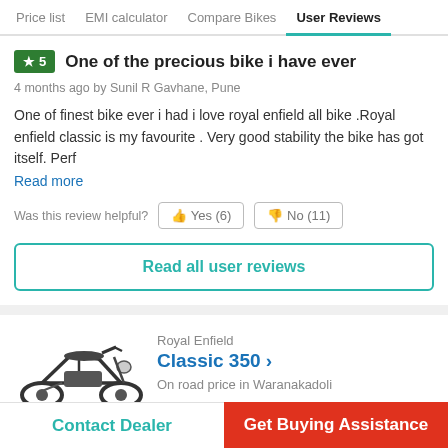Price list  EMI calculator  Compare Bikes  User Reviews
★ 5  One of the precious bike i have ever
4 months ago by Sunil R Gavhane, Pune
One of finest bike ever i had i love royal enfield all bike .Royal enfield classic is my favourite . Very good stability the bike has got itself. Perf
Read more
Was this review helpful?  Yes (6)  No (11)
Read all user reviews
Royal Enfield
Classic 350 ›
On road price in Waranakadoli
Contact Dealer
Get Buying Assistance